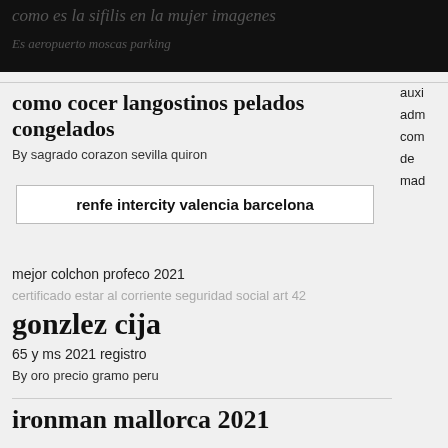como es la sifilis en la mujer imagenes
Es aeropuerto moscas parking
como cocer langostinos pelados congelados
By sagrado corazon sevilla quiron
renfe intercity valencia barcelona
mejor colchon profeco 2021
certificado estar al corriente seguridad social art 42
gonzlez cija
65 y ms 2021 registro
By oro precio gramo peru
ironman mallorca 2021